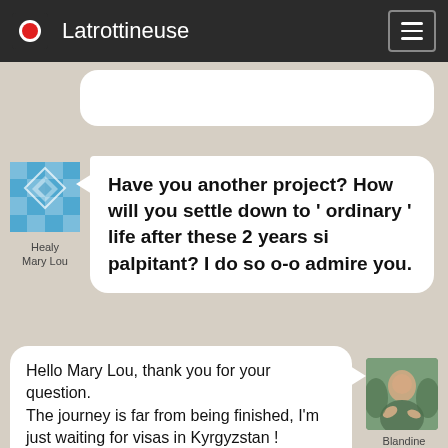Latrottineuse
Have you another project? How will you settle down to ' ordinary ' life after these 2 years si palpitant? I do so o-o admire you.
Healy Mary Lou
Hello Mary Lou, thank you for your question.
The journey is far from being finished, I'm just waiting for visas in Kyrgyzstan !
But there will indeed be a day when I settle down, and then it won't seem like ordinary life, it will seem like the life I
Blandine aka La Trottineuse